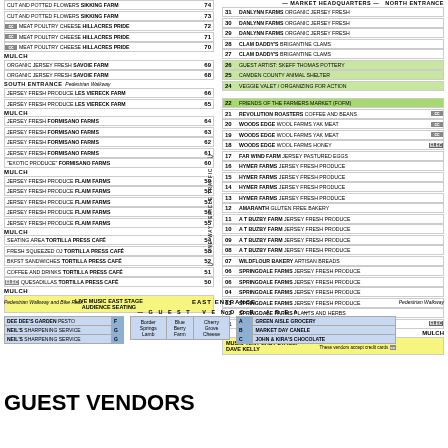| desc | num |
| --- | --- |
| CUT AND POTTED FLOWERS SIKKING FARM | 74 |
| CUT AND POTTED FLOWERS SIKKING FARM | 73 |
| cc MEAT POULTRY CHEESE HILLACRES PRIDE | 72 |
| cc MEAT POULTRY CHEESE HILLACRES PRIDE | 71 |
| cc MEAT POULTRY CHEESE HILLACRES PRIDE | 70 |
| MULCH |
| ORGANIC JERSEY FRESH SAVOIE FARM | 69 |
| ORGANIC JERSEY FRESH SAVOIE FARM | 68 |
SOUTH ENTRANCE — Pedestrian Walkway — MARKET HEADQUARTERS — NORTH ENTRANCE
| desc | num |
| --- | --- |
| JERSEY FRESH PRODUCE LES VIERECK FARM | 66 |
| JERSEY FRESH PRODUCE LES VIERECK FARM | 65 |
| num | desc |
| --- | --- |
| 31 | DANLYNN FARMS ORGANIC JERSEY FRESH |
| 30 | DANLYNN FARMS ORGANIC JERSEY FRESH |
| 29 | DANLYNN FARMS ORGANIC JERSEY FRESH |
| 28 | CLAM DADDY'S BRIGANTINE CLAMS |
| 27 | CLAM DADDY'S BRIGANTINE CLAMS |
| 26 | GUEST ARTIST: SKEFF THOMAS POTTERY |
| 25 | CAMDEN COUNTY ANIMAL SHELTER |
| 24 | VEGGIE VALET / ORGANIZING FOR ACTION |
| 22 | FRIENDS OF THE FARMERS MARKET (FOFM) |
| 21 | REVOLUTION ROASTERS COFFEE AND BEANS cc |
| 20 | WOODS EDGE WOOL FARMS YAK MEAT cc |
| 19 | WOODS EDGE WOOL FARMS YAK MEAT cc |
| 18 | WOODS EDGE WOOL FARMS HONEY ELEC |
| 17 | FAR WIND FARM JERSEY PASTURED EGGS |
| 16 | HYMER FARMS JERSEY FRESH PRODUCE |
| 15 | HYMER FARMS JERSEY FRESH PRODUCE |
| 14 | HYMER FARMS JERSEY FRESH PRODUCE |
| 13 | HYMER FARMS JERSEY FRESH PRODUCE |
| 12 | AMARANTH GLUTEN FREE BAKERY |
| 11 | A T BUZBY FARM JERSEY FRESH PRODUCE |
| 10 | A T BUZBY FARM JERSEY FRESH PRODUCE |
| 09 | A T BUZBY FARM JERSEY FRESH PRODUCE |
| 08 | A T BUZBY FARM JERSEY FRESH PRODUCE |
| 07 | WILDFLOUR BAKERY ARTISAN BREADS |
| 06 | SPRINGDALE FARMS JERSEY FRESH PRODUCE |
| 06 | SPRINGDALE FARMS JERSEY FRESH PRODUCE |
| 04 | SPRINGDALE FARMS JERSEY FRESH PRODUCE |
| 03 | SPRINGDALE FARMS JERSEY FRESH PRODUCE |
| 02 | SPRINGDALE FARMS PLANTS AND HERBS |
| 01 | SPRINGDALE FARMS BAKED GOODS ELEC |
[Figure (infographic): Farmers market vendor map layout with left and right columns of numbered vendor stalls, mulch areas, stage boxes, entrance labels, and guest vendor area]
GUEST VENDORS